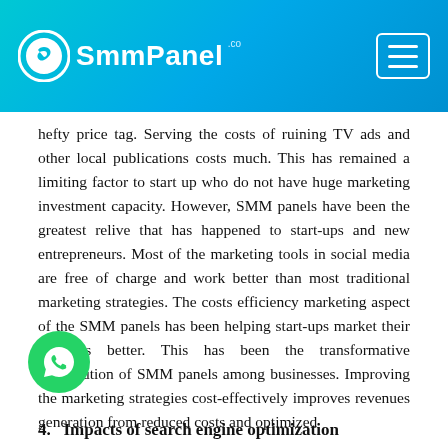SmmPanel.co
hefty price tag. Serving the costs of ruining TV ads and other local publications costs much. This has remained a limiting factor to start up who do not have huge marketing investment capacity. However, SMM panels have been the greatest relive that has happened to start-ups and new entrepreneurs. Most of the marketing tools in social media are free of charge and work better than most traditional marketing strategies. The costs efficiency marketing aspect of the SMM panels has been helping start-ups market their products better. This has been the transformative contribution of SMM panels among businesses. Improving the marketing strategies cost-effectively improves revenues generation from reduced costs and optimized
4.   Impacts of search engine optimization